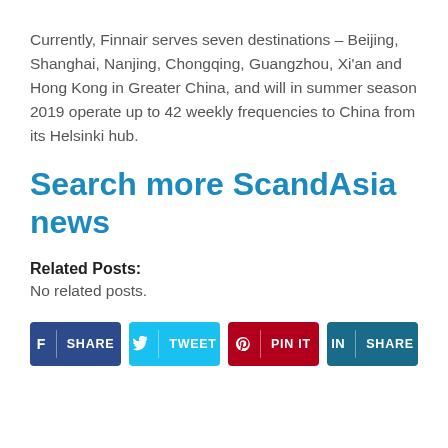Currently, Finnair serves seven destinations – Beijing, Shanghai, Nanjing, Chongqing, Guangzhou, Xi'an and Hong Kong in Greater China, and will in summer season 2019 operate up to 42 weekly frequencies to China from its Helsinki hub.
Search more ScandAsia news
Related Posts:
No related posts.
[Figure (other): Social share buttons: Facebook SHARE, Twitter TWEET, Pinterest PIN IT, LinkedIn SHARE]